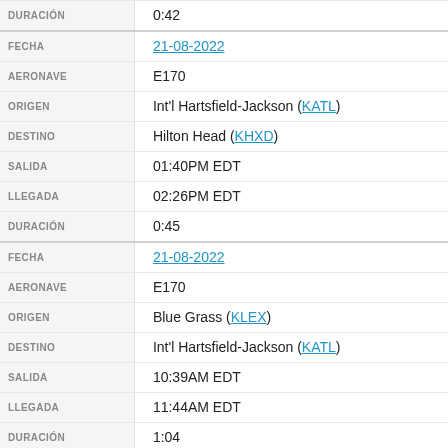| Field | Value |
| --- | --- |
| DURACIÓN | 0:42 |
| FECHA | 21-08-2022 |
| AERONAVE | E170 |
| ORIGEN | Int'l Hartsfield-Jackson (KATL) |
| DESTINO | Hilton Head (KHXD) |
| SALIDA | 01:40PM EDT |
| LLEGADA | 02:26PM EDT |
| DURACIÓN | 0:45 |
| FECHA | 21-08-2022 |
| AERONAVE | E170 |
| ORIGEN | Blue Grass (KLEX) |
| DESTINO | Int'l Hartsfield-Jackson (KATL) |
| SALIDA | 10:39AM EDT |
| LLEGADA | 11:44AM EDT |
| DURACIÓN | 1:04 |
| FECHA | 21-08-2022 |
| AERONAVE | E170 |
| ORIGEN | Int'l de Detroit (KDTW) |
| DESTINO | Blue Grass (KLEX) |
| SALIDA | 08:32AM EDT |
| LLEGADA | 09:34AM EDT |